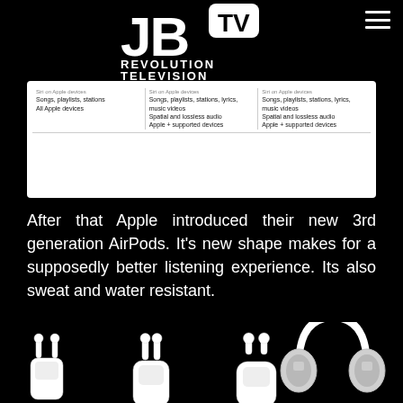[Figure (logo): JB TV Revolution Television logo — white bold text on black background with 'TV' in a rounded rectangle]
[Figure (screenshot): Partial screenshot of an Apple Music subscription comparison table showing three tiers with features: Songs/playlists/stations, Spatial and lossless audio, Apple + supported devices]
After that Apple introduced their new 3rd generation AirPods. It's new shape makes for a supposedly better listening experience. Its also sweat and water resistant.
[Figure (photo): Product photos of Apple audio devices: AirPods (1st gen), AirPods (3rd gen), AirPods Pro, and AirPods Max headphones]